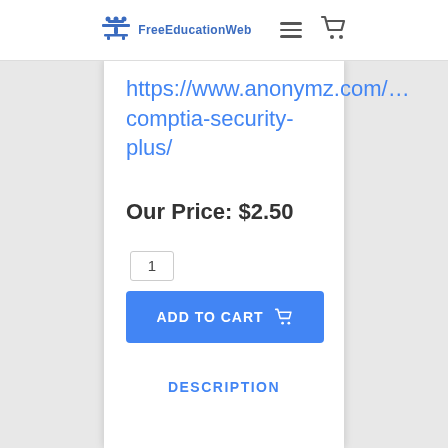FreeEducationWeb
https://www.anonymz.com/…comptia-security-plus/
Our Price: $2.50
1
ADD TO CART
DESCRIPTION